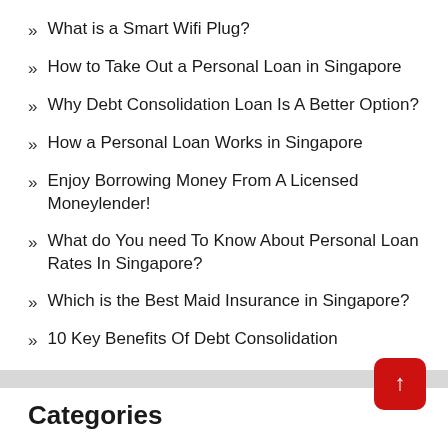What is a Smart Wifi Plug?
How to Take Out a Personal Loan in Singapore
Why Debt Consolidation Loan Is A Better Option?
How a Personal Loan Works in Singapore
Enjoy Borrowing Money From A Licensed Moneylender!
What do You need To Know About Personal Loan Rates In Singapore?
Which is the Best Maid Insurance in Singapore?
10 Key Benefits Of Debt Consolidation
Categories